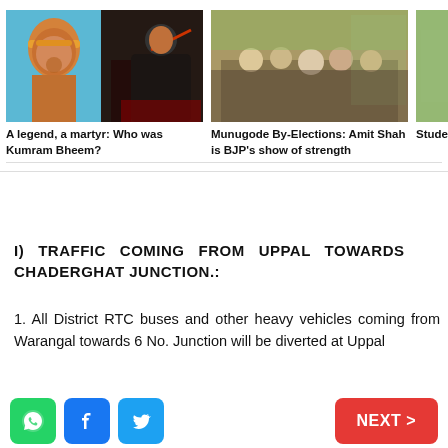[Figure (photo): News carousel with three article cards: 'A legend, a martyr: Who was Kumram Bheem?' with split image of statue and movie action scene; 'Munugode By-Elections: Amit Shah is BJP's show of strength' with crowd photo; third partial card 'Stude MAN stude']
I) TRAFFIC COMING FROM UPPAL TOWARDS CHADERGHAT JUNCTION.:
1. All District RTC buses and other heavy vehicles coming from Warangal towards 6 No. Junction will be diverted at Uppal
[Figure (infographic): Bottom social share bar with WhatsApp (green), Facebook (blue), Twitter (cyan) buttons on left and red NEXT > button on right]